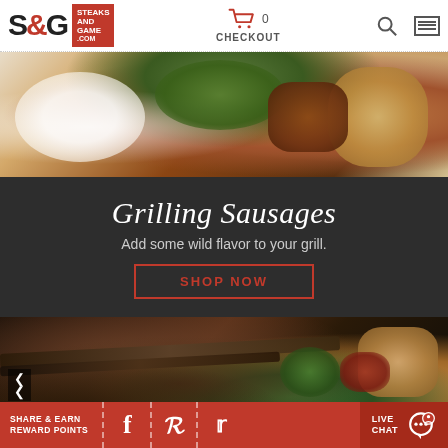[Figure (screenshot): Website header with S&G SteaksAndGame.com logo, checkout cart icon, search icon, and hamburger menu]
[Figure (photo): Hero food photo showing cooked meats and rosemary herbs on a light background]
Grilling Sausages
Add some wild flavor to your grill.
SHOP NOW
[Figure (photo): Dark moody photo of game meat, rifle, red shotgun shells, and grilled food on a dark surface]
SHARE & EARN REWARD POINTS
LIVE CHAT